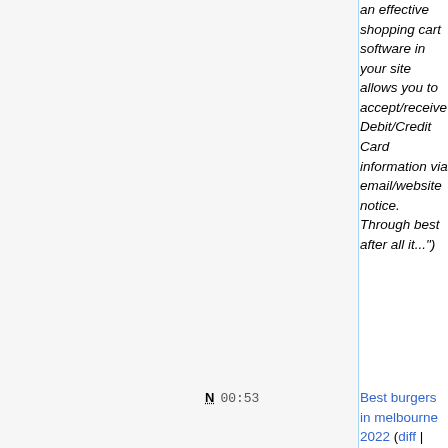an effective shopping cart software in your site allows you to accept/receive Debit/Credit Card information via email/website notice. Through best after all it...")
N  00:53  Best burgers in melbourne 2022 (diff | hist) . . (+5,235 . . WhereTogetqualitybacklinks (talk | contribs) (Created page with "We has a team of friendly customer support representatives. The group is able to assist you to with all you might need which range from how to do the scheduling, each quickest...")